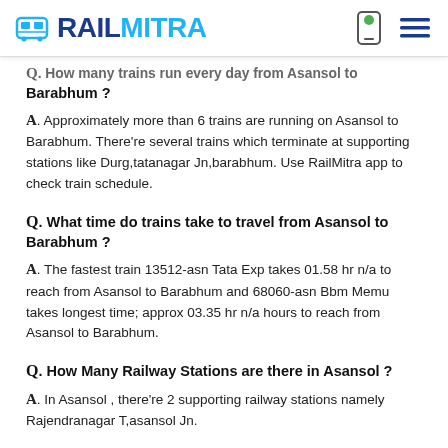RAILMITRA
Q. How many trains run every day from Asansol to Barabhum ? A. Approximately more than 6 trains are running on Asansol to Barabhum. There're several trains which terminate at supporting stations like Durg,tatanagar Jn,barabhum. Use RailMitra app to check train schedule.
Q. What time do trains take to travel from Asansol to Barabhum ? A. The fastest train 13512-asn Tata Exp takes 01.58 hr n/a to reach from Asansol to Barabhum and 68060-asn Bbm Memu takes longest time; approx 03.35 hr n/a hours to reach from Asansol to Barabhum.
Q. How Many Railway Stations are there in Asansol ? A. In Asansol , there're 2 supporting railway stations namely Rajendranagar T,asansol Jn.